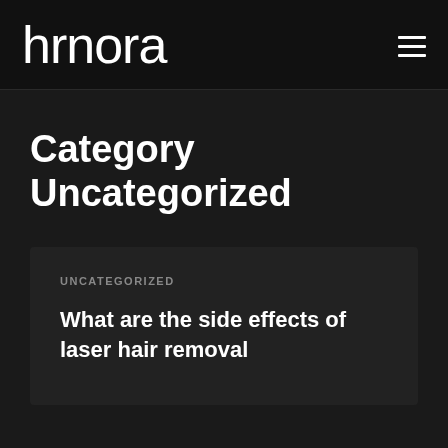hrmora
Category Uncategorized
UNCATEGORIZED
What are the side effects of laser hair removal